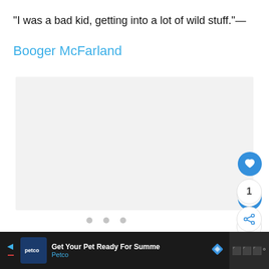“I was a bad kid, getting into a lot of wild stuff.”—
Booger McFarland
[Figure (other): Light gray placeholder image area with three navigation dots at the bottom and a blue heart/like button, a count button showing 1, and a share button on the right side.]
[Figure (infographic): Petco advertisement banner at the bottom: dark background with Petco logo, text 'Get Your Pet Ready For Summe' and 'Petco' in blue, a blue diamond navigation icon, and a dark right section with a music or app icon.]